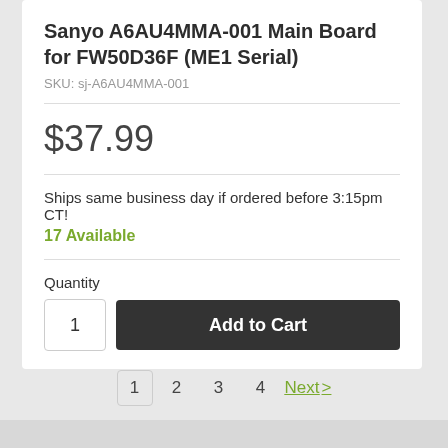Sanyo A6AU4MMA-001 Main Board for FW50D36F (ME1 Serial)
SKU: sj-A6AU4MMA-001
$37.99
Ships same business day if ordered before 3:15pm CT!
17 Available
Quantity
1
Add to Cart
1  2  3  4  Next >